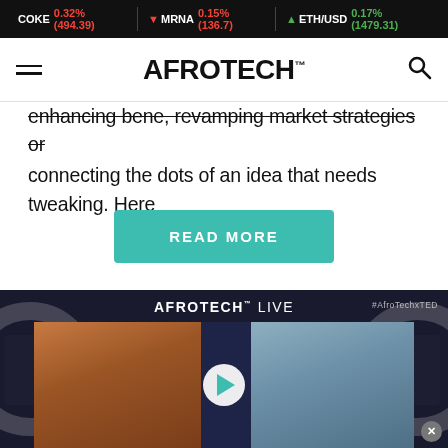COKE 0.32% (494.39) | ▼ MRNA 0.15% (136.7) | ▲ ETH/USD 0.17% (1479.31)
AFROTECH™
enhancing bene, revamping market strategies or connecting the dots of an idea that needs tweaking. Here
READ MORE
[Figure (screenshot): AFROTECH LIVE video panel showing two people seated, with #AfroTechxTED hashtag, decorative dark background pattern, and a play button overlay]